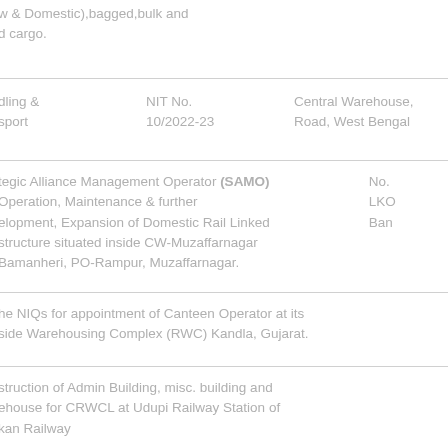w & Domestic),bagged,bulk and d cargo.
dling &
sport
NIT No.
10/2022-23
Central Warehouse,
Road, West Bengal
tegic Alliance Management Operator (SAMO)
Operation, Maintenance & further
development, Expansion of Domestic Rail Linked
structure situated inside CW-Muzaffarnagar
Bamanheri, PO-Rampur, Muzaffarnagar.
No.
LKO
Ban
he NIQs for appointment of Canteen Operator at its
side Warehousing Complex (RWC) Kandla, Gujarat.
struction of Admin Building, misc. building and
ehouse for CRWCL at Udupi Railway Station of
kan Railway